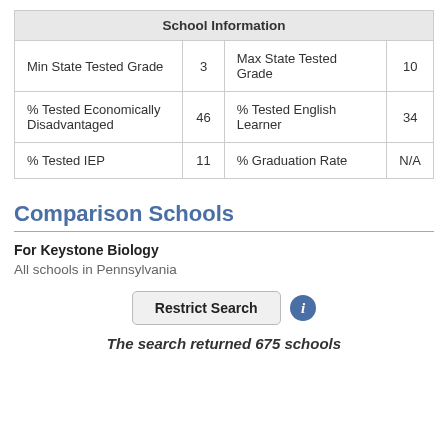| School Information |
| --- |
| Min State Tested Grade | 3 | Max State Tested Grade | 10 |
| % Tested Economically Disadvantaged | 46 | % Tested English Learner | 34 |
| % Tested IEP | 11 | % Graduation Rate | N/A |
Comparison Schools
For Keystone Biology
All schools in Pennsylvania
Restrict Search
The search returned 675 schools